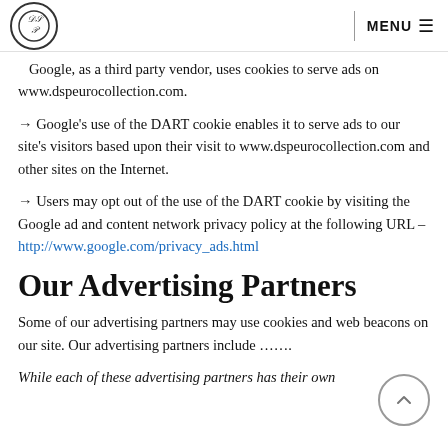DSP Euro Collection | MENU
→ Google, as a third party vendor, uses cookies to serve ads on www.dspeurocollection.com.
→ Google's use of the DART cookie enables it to serve ads to our site's visitors based upon their visit to www.dspeurocollection.com and other sites on the Internet.
→ Users may opt out of the use of the DART cookie by visiting the Google ad and content network privacy policy at the following URL – http://www.google.com/privacy_ads.html
Our Advertising Partners
Some of our advertising partners may use cookies and web beacons on our site. Our advertising partners include …….
While each of these advertising partners has their own